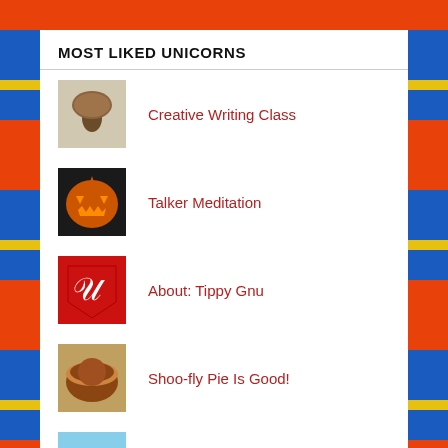MOST LIKED UNICORNS
Creative Writing Class
Talker Meditation
About: Tippy Gnu
Shoo-fly Pie Is Good!
Pie in the Sky
Fast Road to Fame
The Life and Philosophy of Seagulls
The Course of the Silver Bullet Chapter 5